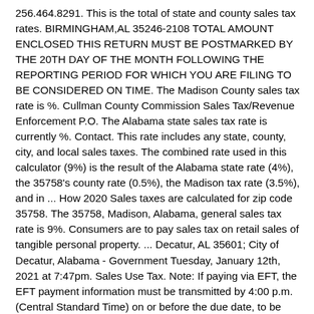256.464.8291. This is the total of state and county sales tax rates. BIRMINGHAM,AL 35246-2108 TOTAL AMOUNT ENCLOSED THIS RETURN MUST BE POSTMARKED BY THE 20TH DAY OF THE MONTH FOLLOWING THE REPORTING PERIOD FOR WHICH YOU ARE FILING TO BE CONSIDERED ON TIME. The Madison County sales tax rate is %. Cullman County Commission Sales Tax/Revenue Enforcement P.O. The Alabama state sales tax rate is currently %. Contact. This rate includes any state, county, city, and local sales taxes. The combined rate used in this calculator (9%) is the result of the Alabama state rate (4%), the 35758's county rate (0.5%), the Madison tax rate (3.5%), and in ... How 2020 Sales taxes are calculated for zip code 35758. The 35758, Madison, Alabama, general sales tax rate is 9%. Consumers are to pay sales tax on retail sales of tangible personal property. ... Decatur, AL 35601; City of Decatur, Alabama - Government Tuesday, January 12th, 2021 at 7:47pm. Sales Use Tax. Note: If paying via EFT, the EFT payment information must be transmitted by 4:00 p.m. (Central Standard Time) on or before the due date, to be